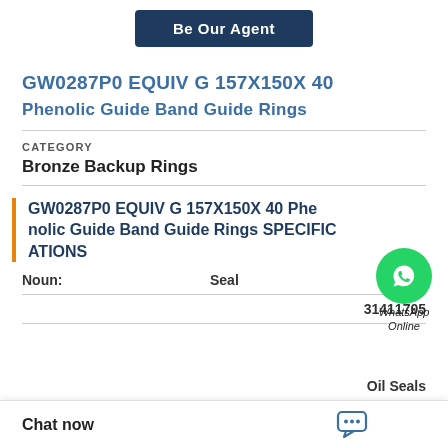[Figure (other): Dark blue rounded rectangle button labeled 'Be Our Agent' in white bold text]
GW0287P0 EQUIV G 157X150X 40
Phenolic Guide Band Guide Rings
CATEGORY
Bronze Backup Rings
[Figure (illustration): WhatsApp green phone icon circle with 'WhatsApp Online' text below in italic]
GW0287P0 EQUIV G 157X150X 40 Phenolic Guide Band Guide Rings SPECIFICATIONS
Noun: Seal
31411705
Oil Seals
Chat now